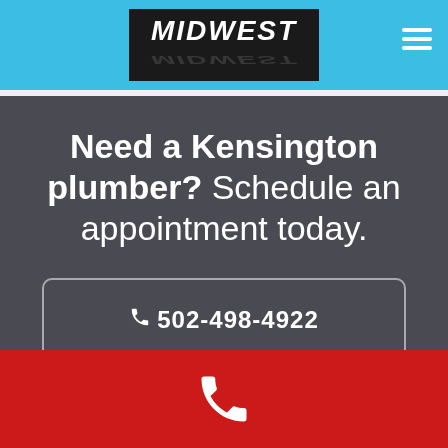MIDWEST
Need a Kensington plumber? Schedule an appointment today.
📞 502-498-4922
[Figure (logo): Phone icon in white on red background footer bar]